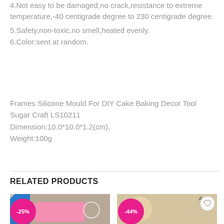4.Not easy to be damaged,no crack,resistance to extreme temperature,-40 centigrade degree to 230 centigrade degree.
5.Safety,non-toxic,no smell,heated evenly.
6.Color:sent at random.
Frames Silicone Mould For DIY Cake Baking Decor Tool Sugar Craft LS10211
Dimension:10.0*10.0*1.2(cm),
Weight:100g
RELATED PRODUCTS
[Figure (photo): Product card showing a pink silicone mould with a blue circular overlay and -25% discount badge]
[Figure (photo): Product card showing baby-themed items with a -44% discount badge and heart wishlist button]